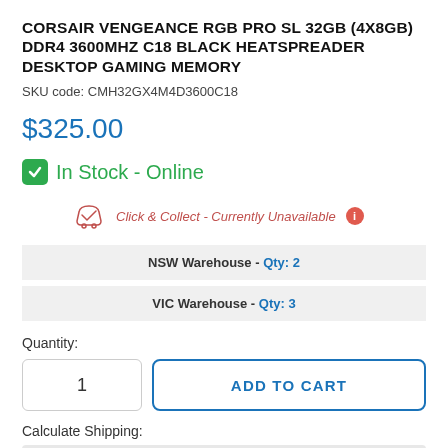CORSAIR VENGEANCE RGB PRO SL 32GB (4X8GB) DDR4 3600MHZ C18 BLACK HEATSPREADER DESKTOP GAMING MEMORY
SKU code: CMH32GX4M4D3600C18
$325.00
✓ In Stock - Online
Click & Collect - Currently Unavailable ℹ
NSW Warehouse - Qty: 2
VIC Warehouse - Qty: 3
Quantity:
1
ADD TO CART
Calculate Shipping: